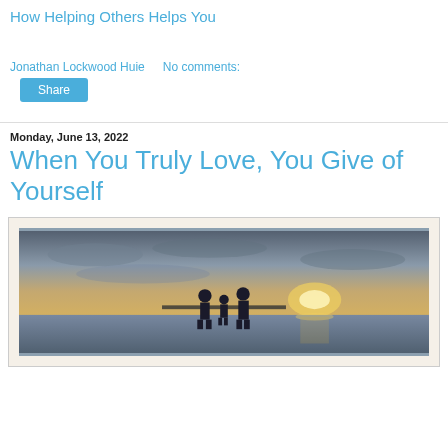How Helping Others Helps You
Jonathan Lockwood Huie    No comments:
Share
Monday, June 13, 2022
When You Truly Love, You Give of Yourself
[Figure (photo): Family silhouette standing on a dock watching a sunset over water, framed with a cream/beige mat border.]